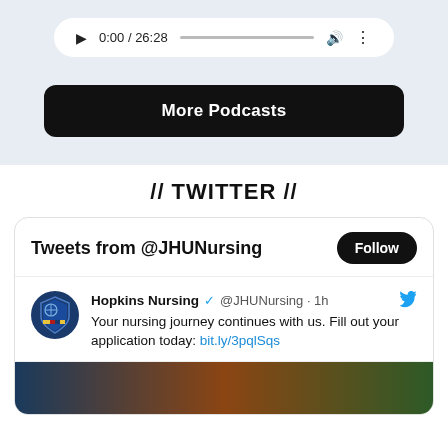[Figure (screenshot): Audio player showing 0:00 / 26:28 with play button, progress bar, volume icon, and more options icon on a light blue-gray background]
More Podcasts
// TWITTER //
[Figure (screenshot): Twitter widget header showing 'Tweets from @JHUNursing' with a Follow button]
[Figure (screenshot): Tweet from Hopkins Nursing @JHUNursing · 1h: Your nursing journey continues with us. Fill out your application today: bit.ly/3pqlSqs]